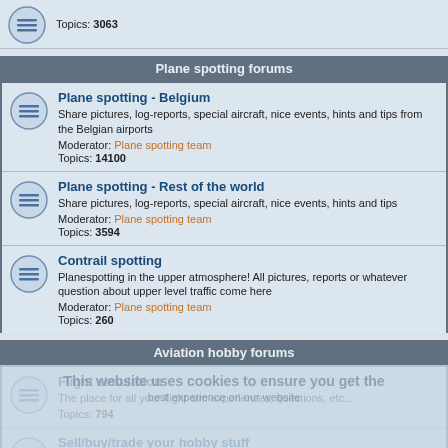Topics: 3063
Plane spotting forums
Plane spotting - Belgium
Share pictures, log-reports, special aircraft, nice events, hints and tips from the Belgian airports
Moderator: Plane spotting team
Topics: 14100
Plane spotting - Rest of the world
Share pictures, log-reports, special aircraft, nice events, hints and tips
Moderator: Plane spotting team
Topics: 3594
Contrail spotting
Planespotting in the upper atmosphere! All pictures, reports or whatever question about upper level traffic come here
Moderator: Plane spotting team
Topics: 260
Aviation hobby forums
Flight simulation
The place for all your flight-sim experiences, questions, etc...
Topics: 794
Sell/buy/trade your hobby stuff
Looking for a specific safety-card, an aviation magazine or a special aircraft model? Want to sell your stuff? Like to exchange with other members? This is the place for all your aviation hobby-related questions and answers!
Topics: 1038